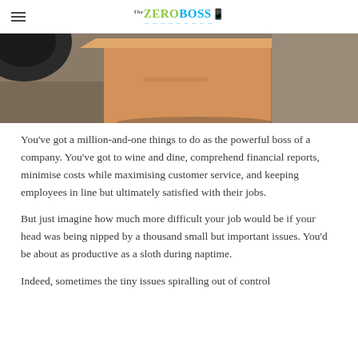The ZeroBoss
[Figure (photo): Photo of a cardboard box on a concrete floor with a dark object partially visible in the upper left corner.]
You've got a million-and-one things to do as the powerful boss of a company. You've got to wine and dine, comprehend financial reports, minimise costs while maximising customer service, and keeping employees in line but ultimately satisfied with their jobs.
But just imagine how much more difficult your job would be if your head was being nipped by a thousand small but important issues. You'd be about as productive as a sloth during naptime.
Indeed, sometimes the tiny issues spiralling out of control